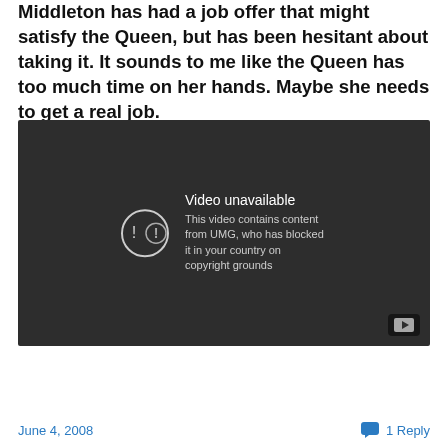Middleton has had a job offer that might satisfy the Queen, but has been hesitant about taking it. It sounds to me like the Queen has too much time on her hands. Maybe she needs to get a real job.
[Figure (screenshot): YouTube video embed showing 'Video unavailable - This video contains content from UMG, who has blocked it in your country on copyright grounds' with YouTube play button in bottom right corner.]
June 4, 2008   1 Reply